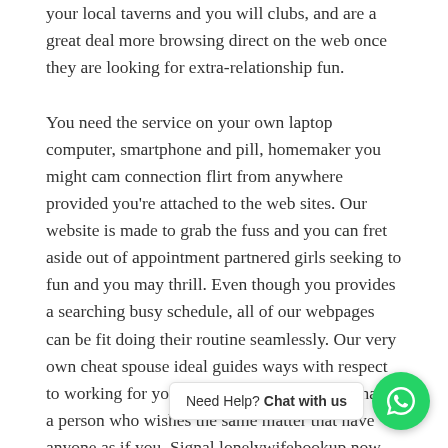your local taverns and you will clubs, and are a great deal more browsing direct on the web once they are looking for extra-relationship fun.

You need the service on your own laptop computer, smartphone and pill, homemaker you might cam connection flirt from anywhere provided you're attached to the web sites. Our website is made to grab the fuss and you can fret aside out of appointment partnered girls seeking to fun and you may thrill. Even though you provides a searching busy schedule, all of our webpages can be fit doing their routine seamlessly. Our very own cheat spouse ideal guides ways with respect to working for you score what you need that have a person who wishes the same matter that have anyone as if you. Signal lonelywifehookup now when you are willing to be making the brand new d begin something really exciting and you may invigorating.
[Figure (other): WhatsApp chat widget with 'Need Help? Chat with us' bubble and green WhatsApp icon button]